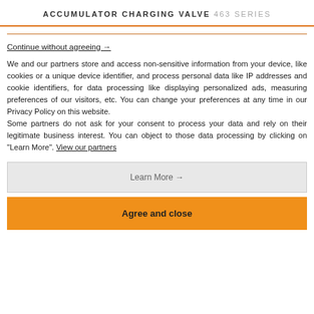ACCUMULATOR CHARGING VALVE 463 SERIES
Continue without agreeing →
We and our partners store and access non-sensitive information from your device, like cookies or a unique device identifier, and process personal data like IP addresses and cookie identifiers, for data processing like displaying personalized ads, measuring preferences of our visitors, etc. You can change your preferences at any time in our Privacy Policy on this website.
Some partners do not ask for your consent to process your data and rely on their legitimate business interest. You can object to those data processing by clicking on "Learn More". View our partners
Learn More →
Agree and close